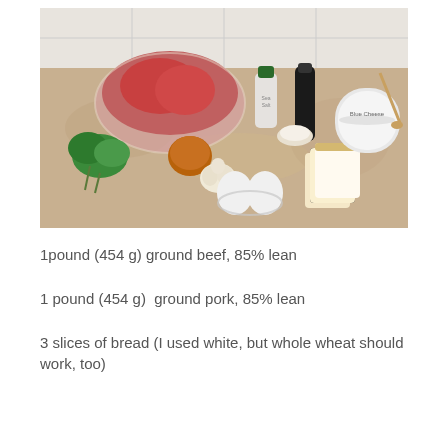[Figure (photo): Ingredients laid out on a granite countertop: a large bowl of ground beef, an onion, fresh parsley, a garlic head, two eggs in a glass bowl, slices of white bread, a container of blue cheese, a small jar, a bottle, and a grinder. White tile backsplash visible in background.]
1pound (454 g) ground beef, 85% lean
1 pound (454 g)  ground pork, 85% lean
3 slices of bread (I used white, but whole wheat should work, too)